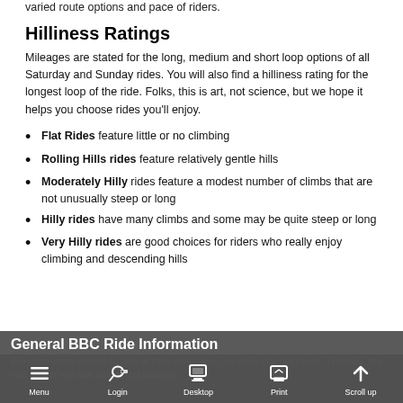varied route options and pace of riders.
Hilliness Ratings
Mileages are stated for the long, medium and short loop options of all Saturday and Sunday rides. You will also find a hilliness rating for the longest loop of the ride. Folks, this is art, not science, but we hope it helps you choose rides you'll enjoy.
Flat Rides feature little or no climbing
Rolling Hills rides feature relatively gentle hills
Moderately Hilly rides feature a modest number of climbs that are not unusually steep or long
Hilly rides have many climbs and some may be quite steep or long
Very Hilly rides are good choices for riders who really enjoy climbing and descending hills
General BBC Ride Information
We encourage people to ride at their own pace, our rides are not races. Typically, the ride leader will use staggered starts to